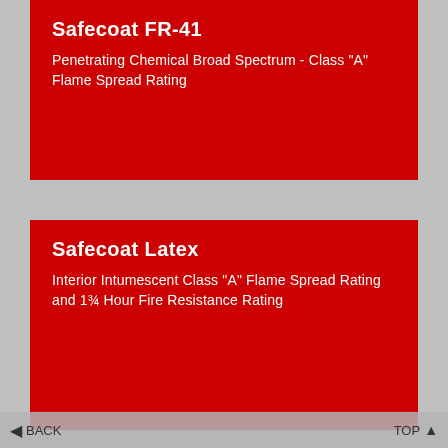Safecoat FR-41
Penetrating Chemical Broad Spectrum - Class "A" Flame Spread Rating
Safecoat Latex
Interior Intumescent Class "A" Flame Spread Rating and 1¾ Hour Fire Resistance Rating
Firex FS II
Exterior/Interior Penetrating Clear Latex - Class "A" Flame Spread Rating
BACK   TOP